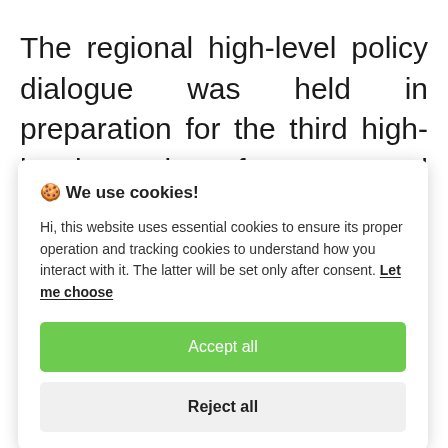The regional high-level policy dialogue was held in preparation for the third high-level meeting of UN General Assembly on the prevention and control of NCD...
🍪 We use cookies!

Hi, this website uses essential cookies to ensure its proper operation and tracking cookies to understand how you interact with it. The latter will be set only after consent. Let me choose

[Accept all] [Reject all]